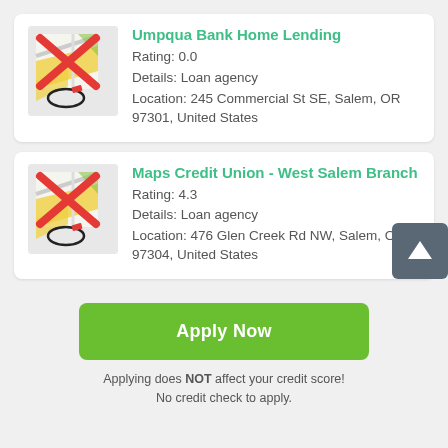[Figure (illustration): Map icon with red X overlay and location pin, for Umpqua Bank Home Lending]
Umpqua Bank Home Lending
Rating: 0.0
Details: Loan agency
Location: 245 Commercial St SE, Salem, OR 97301, United States
[Figure (illustration): Map icon with red X overlay and location pin, for Maps Credit Union]
Maps Credit Union - West Salem Branch
Rating: 4.3
Details: Loan agency
Location: 476 Glen Creek Rd NW, Salem, OR 97304, United States
Apply Now
Applying does NOT affect your credit score! No credit check to apply.